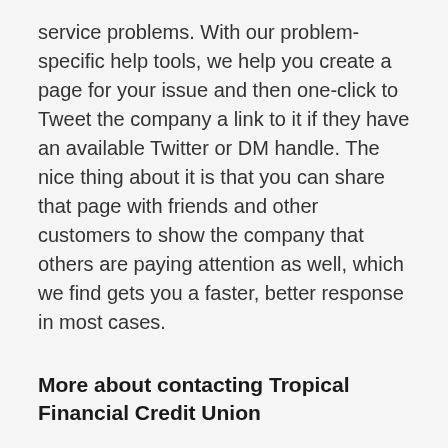service problems. With our problem-specific help tools, we help you create a page for your issue and then one-click to Tweet the company a link to it if they have an available Twitter or DM handle. The nice thing about it is that you can share that page with friends and other customers to show the company that others are paying attention as well, which we find gets you a faster, better response in most cases.
More about contacting Tropical Financial Credit Union
Of the 2 way(s) to get in touch with Tropical Financial Credit Union, customers like you claim that the best one is the 305-261-8328 option. From this page you can easily access all the possible contact information